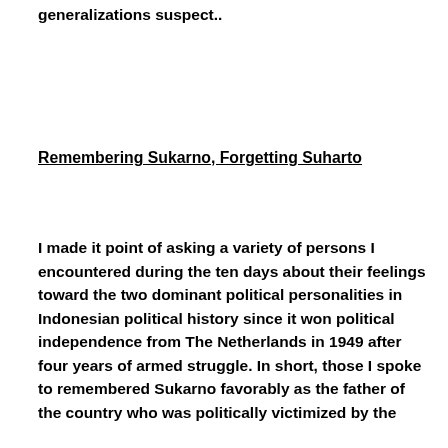generalizations suspect..
Remembering Sukarno, Forgetting Suharto
I made it point of asking a variety of persons I encountered during the ten days about their feelings toward the two dominant political personalities in Indonesian political history since it won political independence from The Netherlands in 1949 after four years of armed struggle. In short, those I spoke to remembered Sukarno favorably as the father of the country who was politically victimized by the coup that took power of 1965, resisting the